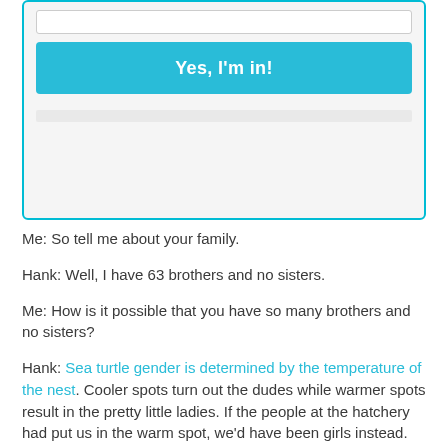[Figure (screenshot): UI card with a text input field at the top and a cyan 'Yes, I'm in!' button below, set against a light gray background with a cyan border.]
Me: So tell me about your family.
Hank: Well, I have 63 brothers and no sisters.
Me: How is it possible that you have so many brothers and no sisters?
Hank: Sea turtle gender is determined by the temperature of the nest. Cooler spots turn out the dudes while warmer spots result in the pretty little ladies. If the people at the hatchery had put us in the warm spot, we'd have been girls instead. Can you imagine this face on a chick's body?!